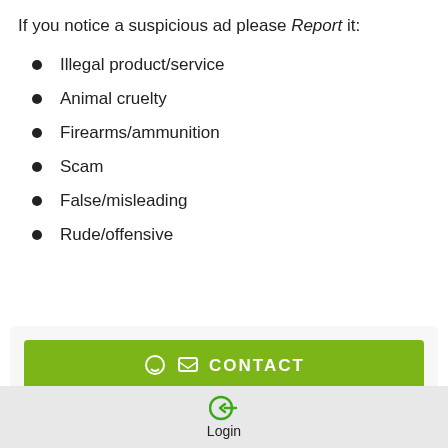If you notice a suspicious ad please Report it:
Illegal product/service
Animal cruelty
Firearms/ammunition
Scam
False/misleading
Rude/offensive
[Figure (screenshot): Green CONTACT button with chat icon inside a light grey rounded box]
[Figure (screenshot): Bottom navigation bar with heart icon, flag/Report icon with label 'Report', and login arrow icon with label 'Login' on grey background]